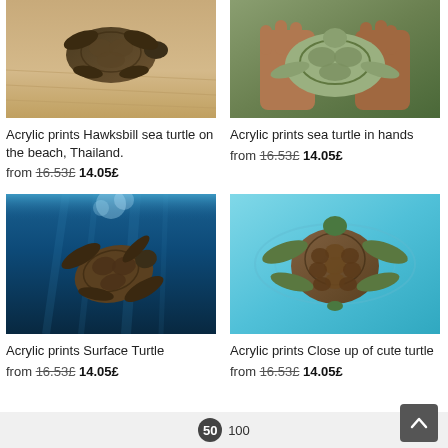[Figure (photo): Hawksbill sea turtle on sandy beach, Thailand - photo cropped at top]
[Figure (photo): Sea turtle being held in human hands]
Acrylic prints Hawksbill sea turtle on the beach, Thailand.
from 16.53£ 14.05£
Acrylic prints sea turtle in hands
from 16.53£ 14.05£
[Figure (photo): Sea turtle swimming underwater with blue water background, view from below]
[Figure (photo): Sea turtle swimming in turquoise water viewed from above]
Acrylic prints Surface Turtle
from 16.53£ 14.05£
Acrylic prints Close up of cute turtle
from 16.53£ 14.05£
50  100